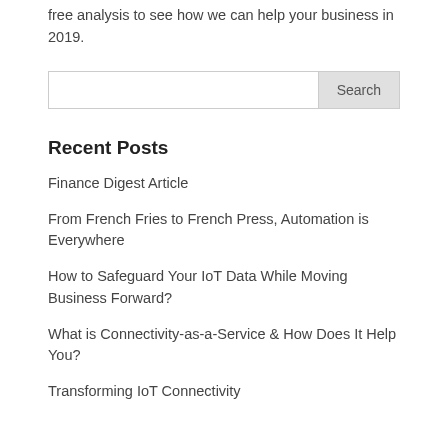free analysis to see how we can help your business in 2019.
Search
Recent Posts
Finance Digest Article
From French Fries to French Press, Automation is Everywhere
How to Safeguard Your IoT Data While Moving Business Forward?
What is Connectivity-as-a-Service & How Does It Help You?
Transforming IoT Connectivity